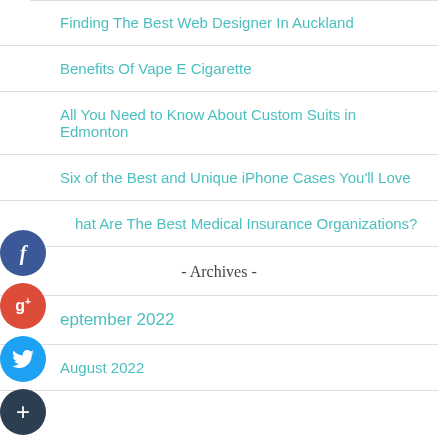Finding The Best Web Designer In Auckland
Benefits Of Vape E Cigarette
All You Need to Know About Custom Suits in Edmonton
Six of the Best and Unique iPhone Cases You'll Love
What Are The Best Medical Insurance Organizations?
- Archives -
September 2022
August 2022